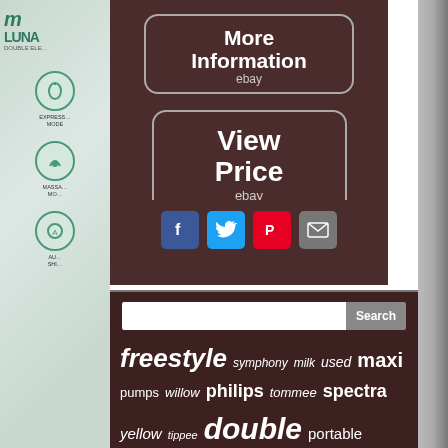[Figure (screenshot): Left panel showing Luna breast pump product box with logo and icons for Expression Mode, Massage Mode, and Auto Shield]
[Figure (screenshot): More Information button with ebay label]
[Figure (screenshot): View Price button with ebay label]
[Figure (screenshot): Social sharing icons: Facebook, Twitter, Pinterest, Email]
[Figure (screenshot): Search bar with Search button]
freestyle  symphony  milk  used  maxi  pumps  willow  philips  tommee  spectra  yellow  tippee  double  portable  flex  grade  review  sealed  hands-free  swing  wearable